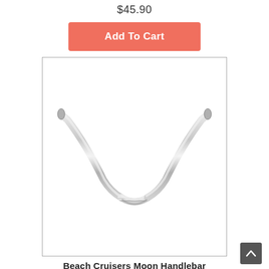$45.90
Add To Cart
[Figure (photo): A chrome/silver beach cruiser moon handlebar shaped like a wide U-curve, photographed on white background, inside a bordered box.]
Beach Cruisers Moon Handlebar